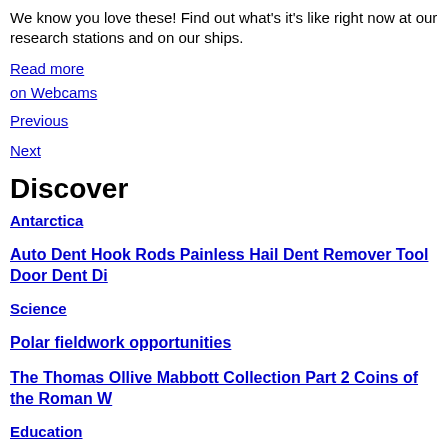We know you love these! Find out what's it's like right now at our research stations and on our ships.
Read more on Webcams
Previous
Next
Discover
Antarctica
Auto Dent Hook Rods Painless Hail Dent Remover Tool Door Dent Di
Science
Polar fieldwork opportunities
The Thomas Ollive Mabbott Collection Part 2 Coins of the Roman W
Education